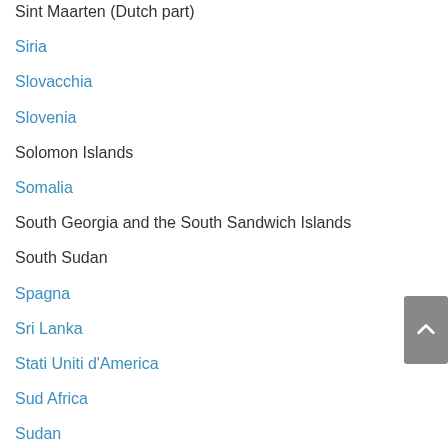Sint Maarten (Dutch part)
Siria
Slovacchia
Slovenia
Solomon Islands
Somalia
South Georgia and the South Sandwich Islands
South Sudan
Spagna
Sri Lanka
Stati Uniti d'America
Sud Africa
Sudan
Suriname
Svalbard and Jan Mayen